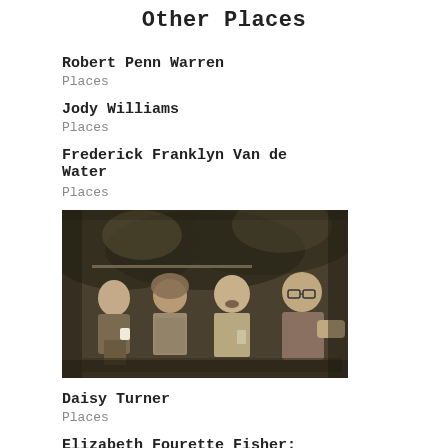Other Places
Robert Penn Warren
Places
Jody Williams
Places
Frederick Franklyn Van de Water
Places
[Figure (photo): Black and white photograph of four elderly people sitting outdoors, smiling and socializing. A man on the left holds a white cup, a woman in the middle wears a headscarf, another man laughs in the center, and a bald man with glasses sits on the right.]
Daisy Turner
Places
Elizabeth Fourette Fisher:
West River, To Al...